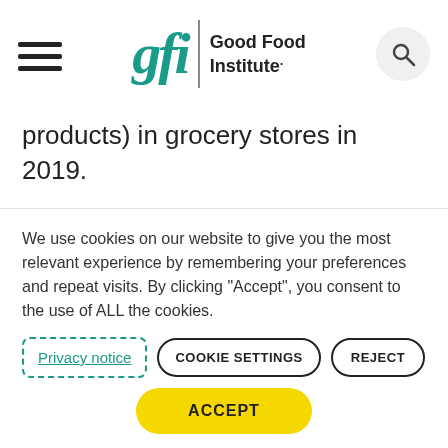[Figure (logo): Good Food Institute logo with hamburger menu icon on left and search icon on right]
products) in grocery stores in 2019.
But this is just the beginning. Certainly, veggie burgers have been staples of the frozen aisle for decades. In recent years, however, plant-based
We use cookies on our website to give you the most relevant experience by remembering your preferences and repeat visits. By clicking “Accept”, you consent to the use of ALL the cookies.
Privacy notice
COOKIE SETTINGS
REJECT
ACCEPT